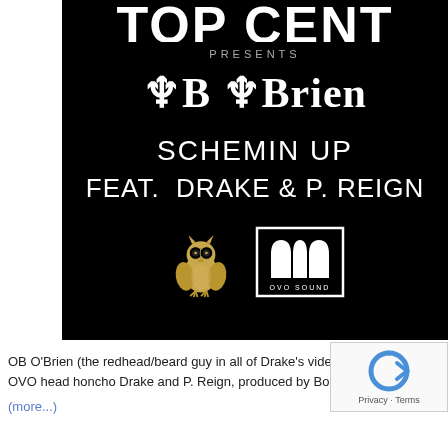[Figure (illustration): Promotional music single artwork on black background. At top, partially cropped large white text (appears to be 'TOP CENT...'), below 'PRESENTS' in small spaced caps, then 'OB OBrien' in large Old English blackletter font, then 'SCHEMIN UP' in white sans-serif, then 'FEAT. DRAKE & P. REIGN' in white sans-serif, then OVO owl logo and OVO SOUND box logo at bottom.]
OB O'Brien (the redhead/beard guy in all of Drake's videos/pics) sha... OVO head honcho Drake and P. Reign, produced by Boi-... jump.
(more...)